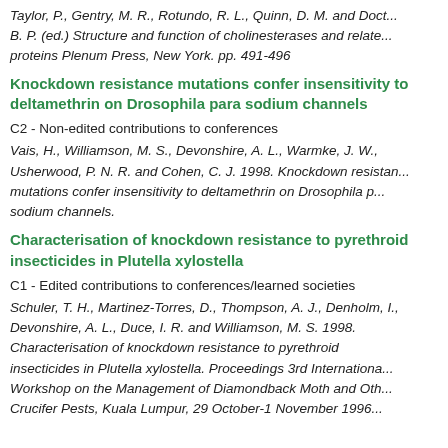Taylor, P., Gentry, M. R., Rotundo, R. L., Quinn, D. M. and Doct... B. P. (ed.) Structure and function of cholinesterases and relate... proteins Plenum Press, New York. pp. 491-496
Knockdown resistance mutations confer insensitivity to deltamethrin on Drosophila para sodium channels
C2 - Non-edited contributions to conferences
Vais, H., Williamson, M. S., Devonshire, A. L., Warmke, J. W., Usherwood, P. N. R. and Cohen, C. J. 1998. Knockdown resistance mutations confer insensitivity to deltamethrin on Drosophila para sodium channels.
Characterisation of knockdown resistance to pyrethroid insecticides in Plutella xylostella
C1 - Edited contributions to conferences/learned societies
Schuler, T. H., Martinez-Torres, D., Thompson, A. J., Denholm, I., Devonshire, A. L., Duce, I. R. and Williamson, M. S. 1998. Characterisation of knockdown resistance to pyrethroid insecticides in Plutella xylostella. Proceedings 3rd International Workshop on the Management of Diamondback Moth and Oth... Crucifer Pests, Kuala Lumpur, 29 October-1 November 1996...